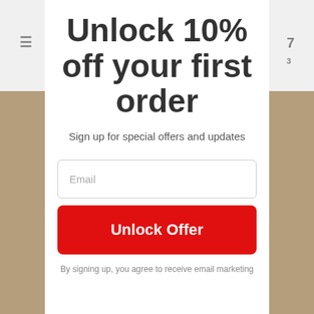Unlock 10% off your first order
Sign up for special offers and updates
Email
Unlock Offer
By signing up, you agree to receive email marketing